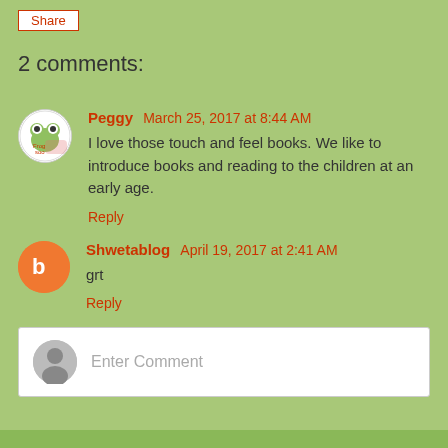Share
2 comments:
Peggy  March 25, 2017 at 8:44 AM
I love those touch and feel books. We like to introduce books and reading to the children at an early age.
Reply
Shwetablog  April 19, 2017 at 2:41 AM
grt
Reply
Enter Comment